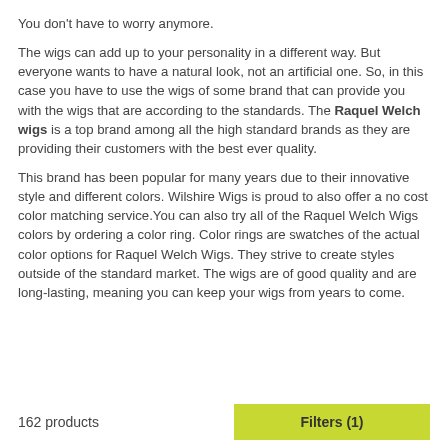You don't have to worry anymore.
The wigs can add up to your personality in a different way. But everyone wants to have a natural look, not an artificial one. So, in this case you have to use the wigs of some brand that can provide you with the wigs that are according to the standards. The Raquel Welch wigs is a top brand among all the high standard brands as they are providing their customers with the best ever quality.
This brand has been popular for many years due to their innovative style and different colors. Wilshire Wigs is proud to also offer a no cost color matching service. You can also try all of the Raquel Welch Wigs colors by ordering a color ring. Color rings are swatches of the actual color options for Raquel Welch Wigs. They strive to create styles outside of the standard market. The wigs are of good quality and are long-lasting, meaning you can keep your wigs from years to come.
162 products   Filters (1)